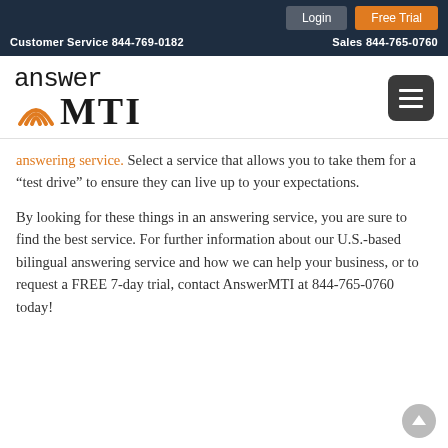Login | Free Trial | Customer Service 844-769-0182 | Sales 844-765-0760
[Figure (logo): AnswerMTI logo with signal arc icon and sans-serif wordmark]
answering service. Select a service that allows you to take them for a “test drive” to ensure they can live up to your expectations.
By looking for these things in an answering service, you are sure to find the best service. For further information about our U.S.-based bilingual answering service and how we can help your business, or to request a FREE 7-day trial, contact AnswerMTI at 844-765-0760 today!